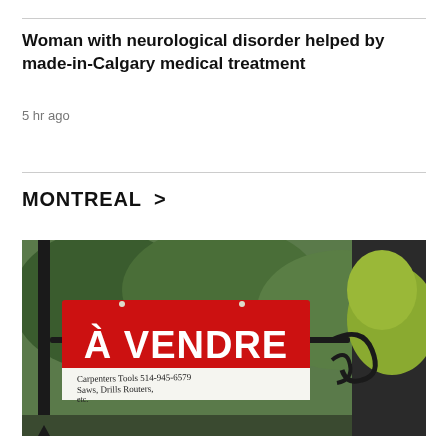Woman with neurological disorder helped by made-in-Calgary medical treatment
5 hr ago
MONTREAL >
[Figure (photo): A red 'À VENDRE' (For Sale) sign mounted on a decorative black wrought-iron post, with a handwritten note below reading 'Carpenters Tools 514-945-6579 Saws, Drills Routers, etc.' Green shrubs and foliage in the background.]